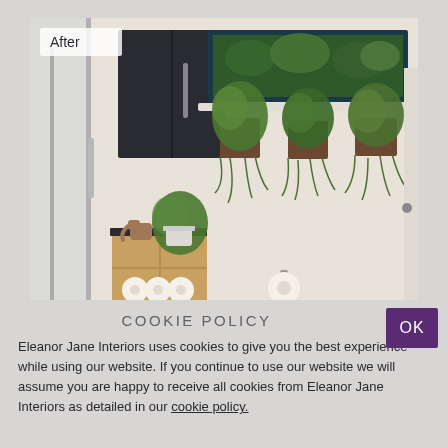[Figure (photo): Bathroom interior 'After' photo showing renovated bathroom with dark wall cabinet, horizontal window with teal/navy surround, three wall-mounted plant holders with ferns, shower glass panel, wooden storage unit with toilet paper rolls, and small potted plant on top.]
COOKIE POLICY
Eleanor Jane Interiors uses cookies to give you the best experience while using our website. If you continue to use our website we will assume you are happy to receive all cookies from Eleanor Jane Interiors as detailed in our cookie policy.